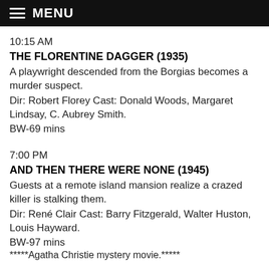MENU
10:15 AM
THE FLORENTINE DAGGER (1935)
A playwright descended from the Borgias becomes a murder suspect.
Dir: Robert Florey Cast: Donald Woods, Margaret Lindsay, C. Aubrey Smith.
BW-69 mins
7:00 PM
AND THEN THERE WERE NONE (1945)
Guests at a remote island mansion realize a crazed killer is stalking them.
Dir: René Clair Cast: Barry Fitzgerald, Walter Huston, Louis Hayward.
BW-97 mins
*****Agatha Christie mystery movie.*****
9:M PM